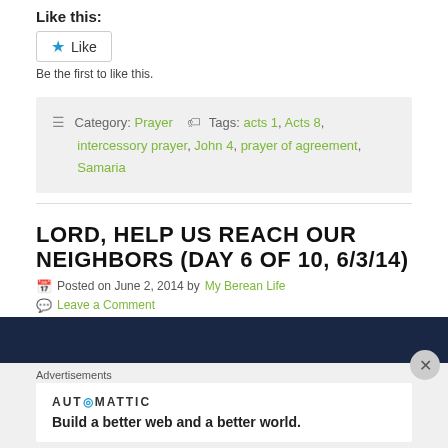Like this:
Like
Be the first to like this.
Category: Prayer  Tags: acts 1, Acts 8, intercessory prayer, John 4, prayer of agreement, Samaria
LORD, HELP US REACH OUR NEIGHBORS (DAY 6 OF 10, 6/3/14)
Posted on June 2, 2014 by My Berean Life
Leave a Comment
Advertisements
AUTO·MATTIC
Build a better web and a better world.